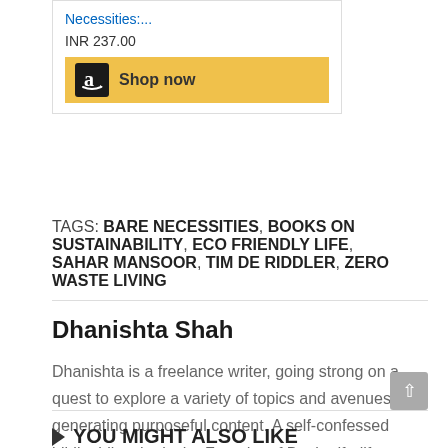[Figure (screenshot): Amazon product widget showing a book listing with a blue link 'Necessities:...', price 'INR 237.00', and a gold 'Shop now' button with Amazon logo]
TAGS: BARE NECESSITIES, BOOKS ON SUSTAINABILITY, ECO FRIENDLY LIFE, SAHAR MANSOOR, TIM DE RIDDLER, ZERO WASTE LIVING
Dhanishta Shah
Dhanishta is a freelance writer, going strong on a quest to explore a variety of topics and avenues for generating purposeful content. A self-confessed bibliophile, she is the Founder of Bookedforlife.
YOU MIGHT ALSO LIKE